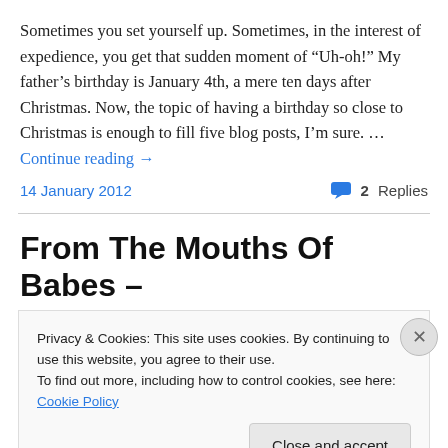Sometimes you set yourself up.  Sometimes, in the interest of expedience, you get that sudden moment of "Uh-oh!" My father's birthday is January 4th, a mere ten days after Christmas.  Now, the topic of having a birthday so close to Christmas is enough to fill five blog posts, I'm sure. … Continue reading →
14 January 2012  💬 2 Replies
From The Mouths Of Babes –
Privacy & Cookies: This site uses cookies. By continuing to use this website, you agree to their use.
To find out more, including how to control cookies, see here: Cookie Policy
Close and accept